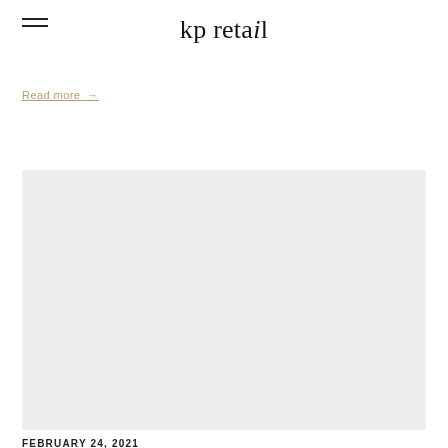kp retail
Read more →
[Figure (photo): Light gray rectangular image placeholder block for a blog post or article]
FEBRUARY 24, 2021